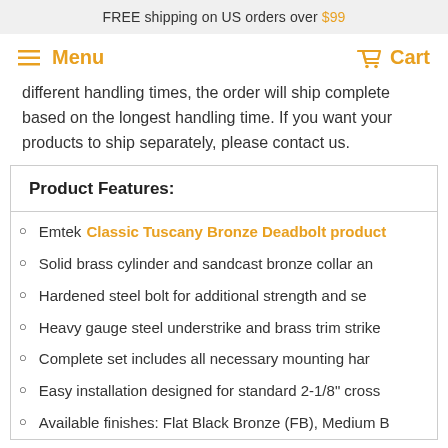FREE shipping on US orders over $99
Menu   Cart
different handling times, the order will ship complete based on the longest handling time. If you want your products to ship separately, please contact us.
Product Features:
Emtek Classic Tuscany Bronze Deadbolt product
Solid brass cylinder and sandcast bronze collar an
Hardened steel bolt for additional strength and se
Heavy gauge steel understrike and brass trim strike
Complete set includes all necessary mounting har
Easy installation designed for standard 2-1/8" cross
Available finishes: Flat Black Bronze (FB), Medium B